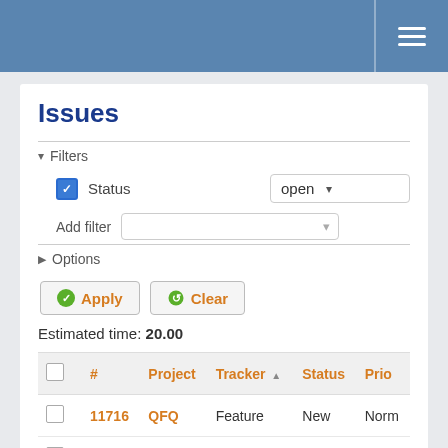Issues — header navigation bar
Issues
Filters — Status: open
Add filter
Options
Apply   Clear
Estimated time: 20.00
|  | # | Project | Tracker | Status | Prio |
| --- | --- | --- | --- | --- | --- |
|  | 11716 | QFQ | Feature | New | Norm |
|  | 11535 | QFQ | Feature | New | Norm |